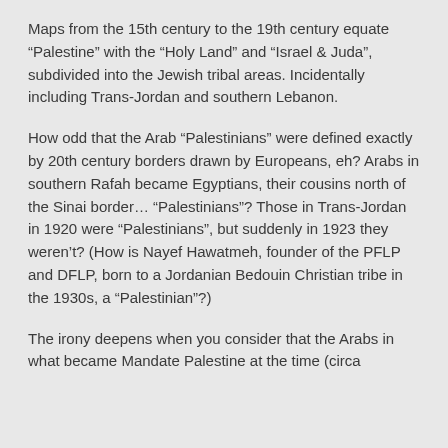Maps from the 15th century to the 19th century equate “Palestine” with the “Holy Land” and “Israel & Juda”, subdivided into the Jewish tribal areas. Incidentally including Trans-Jordan and southern Lebanon.
How odd that the Arab “Palestinians” were defined exactly by 20th century borders drawn by Europeans, eh? Arabs in southern Rafah became Egyptians, their cousins north of the Sinai border… “Palestinians”? Those in Trans-Jordan in 1920 were “Palestinians”, but suddenly in 1923 they weren’t? (How is Nayef Hawatmeh, founder of the PFLP and DFLP, born to a Jordanian Bedouin Christian tribe in the 1930s, a “Palestinian”?)
The irony deepens when you consider that the Arabs in what became Mandate Palestine at the time (circa